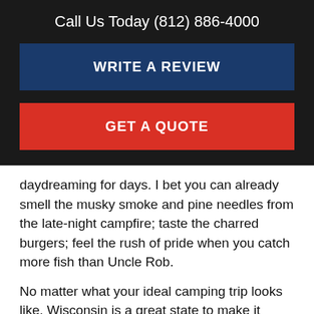Call Us Today (812) 886-4000
WRITE A REVIEW
GET A QUOTE
daydreaming for days. I bet you can already smell the musky smoke and pine needles from the late-night campfire; taste the charred burgers; feel the rush of pride when you catch more fish than Uncle Rob.
No matter what your ideal camping trip looks like, Wisconsin is a great state to make it happen. To ease your planning process, we have built a list of our top